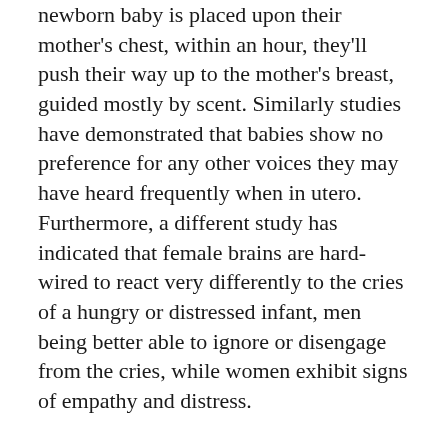newborn baby is placed upon their mother's chest, within an hour, they'll push their way up to the mother's breast, guided mostly by scent. Similarly studies have demonstrated that babies show no preference for any other voices they may have heard frequently when in utero. Furthermore, a different study has indicated that female brains are hard-wired to react very differently to the cries of a hungry or distressed infant, men being better able to ignore or disengage from the cries, while women exhibit signs of empathy and distress.
When my baby was taken away from me, an hour after birth and placed in the neonatal unit while I was trundled to high-dependency, the necessary twenty-four hour separation caused me an agony and anxiety which I cannot articulate.Babies should not be removed from their mothers, unless there is little other choice,